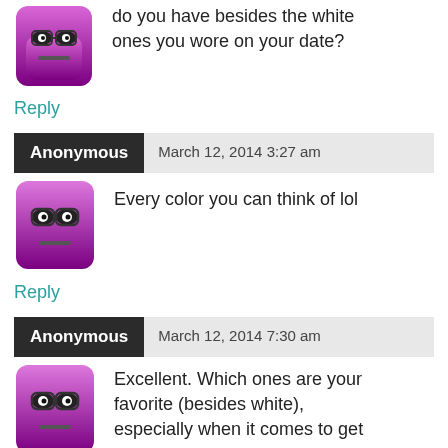do you have besides the white ones you wore on your date?
Reply
Anonymous  March 12, 2014 3:27 am
Every color you can think of lol
Reply
Anonymous  March 12, 2014 7:30 am
Excellent. Which ones are your favorite (besides white), especially when it comes to get guys' attention?